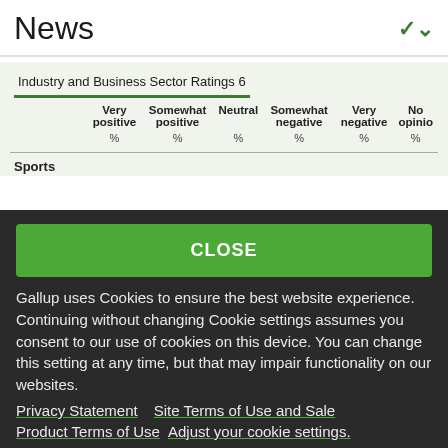News
|  | Very positive | Somewhat positive | Neutral | Somewhat negative | Very negative | No opinion |
| --- | --- | --- | --- | --- | --- | --- |
|  | % | % | % | % | % | % |
| Sports |  |  |  |  |  |  |
CLOSE
Gallup uses Cookies to ensure the best website experience. Continuing without changing Cookie settings assumes you consent to our use of cookies on this device. You can change this setting at any time, but that may impair functionality on our websites.
Privacy Statement   Site Terms of Use and Sale
Product Terms of Use   Adjust your cookie settings.